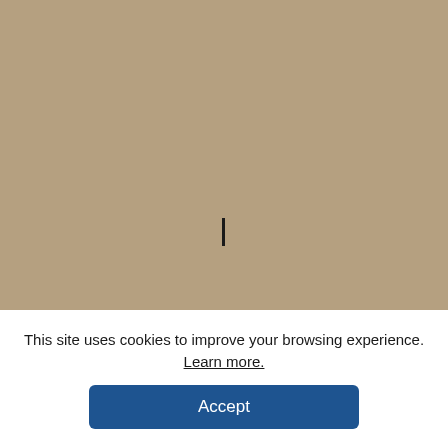[Figure (photo): A tan/beige colored background image filling the upper portion of the page, with a blinking text cursor visible near the center.]
This site uses cookies to improve your browsing experience. Learn more.
Accept